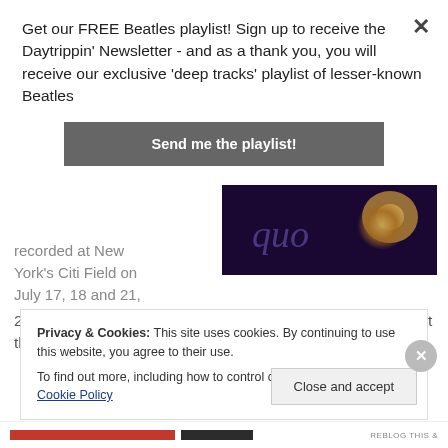Get our FREE Beatles playlist! Sign up to receive the Daytrippin' Newsletter - and as a thank you, you will receive our exclusive 'deep tracks' playlist of lesser-known Beatles
Send me the playlist!
York's Citi Field on July 17, 18 and 21, 2009. McCartney's shows were the first concerts ever held at the new Citi Field, which replaces Shea Stadium.
[Figure (photo): Dark stage photo with purple/indigo lighting and an orb of warm golden light, concert venue]
If you want to feel like you're really at a live show
Privacy & Cookies: This site uses cookies. By continuing to use this website, you agree to their use.
To find out more, including how to control cookies, see here: Cookie Policy
Close and accept